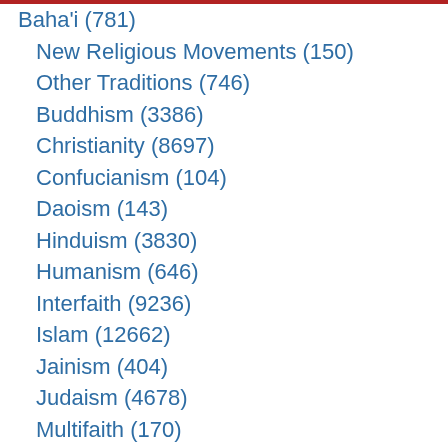Baha'i (781)
New Religious Movements (150)
Other Traditions (746)
Buddhism (3386)
Christianity (8697)
Confucianism (104)
Daoism (143)
Hinduism (3830)
Humanism (646)
Interfaith (9236)
Islam (12662)
Jainism (404)
Judaism (4678)
Multifaith (170)